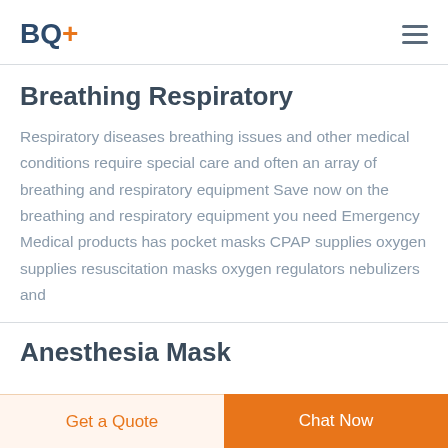BQ+
Breathing Respiratory
Respiratory diseases breathing issues and other medical conditions require special care and often an array of breathing and respiratory equipment Save now on the breathing and respiratory equipment you need Emergency Medical products has pocket masks CPAP supplies oxygen supplies resuscitation masks oxygen regulators nebulizers and
Anesthesia Mask
Get a Quote
Chat Now